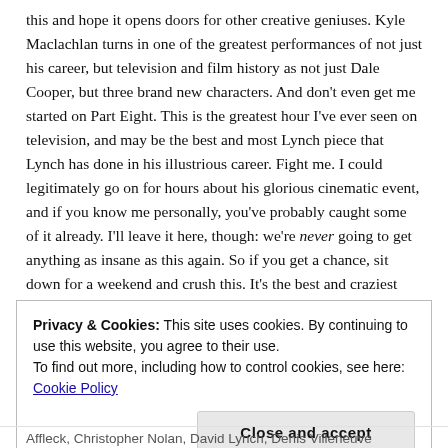this and hope it opens doors for other creative geniuses. Kyle Maclachlan turns in one of the greatest performances of not just his career, but television and film history as not just Dale Cooper, but three brand new characters. And don't even get me started on Part Eight. This is the greatest hour I've ever seen on television, and may be the best and most Lynch piece that Lynch has done in his illustrious career. Fight me. I could legitimately go on for hours about his glorious cinematic event, and if you know me personally, you've probably caught some of it already. I'll leave it here, though: we're never going to get anything as insane as this again. So if you get a chance, sit down for a weekend and crush this. It's the best and craziest "movie" you'll ever see.
Privacy & Cookies: This site uses cookies. By continuing to use this website, you agree to their use.
To find out more, including how to control cookies, see here: Cookie Policy
Close and accept
Affleck, Christopher Nolan, David Lynch, Denis Villeneuve